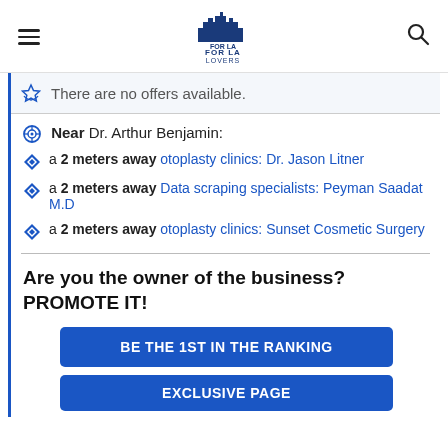FOR LA LOVERS (logo with hamburger menu and search icon)
There are no offers available.
Near Dr. Arthur Benjamin:
a 2 meters away otoplasty clinics: Dr. Jason Litner
a 2 meters away Data scraping specialists: Peyman Saadat M.D
a 2 meters away otoplasty clinics: Sunset Cosmetic Surgery
Are you the owner of the business? PROMOTE IT!
BE THE 1ST IN THE RANKING
EXCLUSIVE PAGE